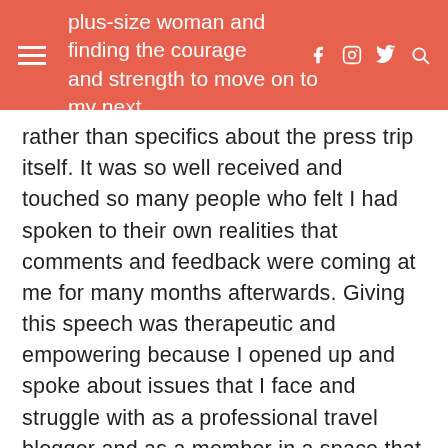plus-size woman and finding the courage and strength to move on to my next
rather than specifics about the press trip itself. It was so well received and touched so many people who felt I had spoken to their own realities that comments and feedback were coming at me for many months afterwards. Giving this speech was therapeutic and empowering because I opened up and spoke about issues that I face and struggle with as a professional travel blogger and as a member in a space that doesn't really acknowledge people like me and instead rewards and celebrates limited beauty standards, youth, and sex appeal over quality of content, experience, and knowledge. It was incredible to come off that stage having